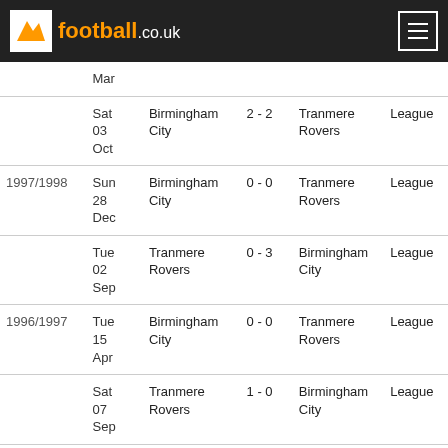football.co.uk
| Season | Date | Home | Score | Away | Type |
| --- | --- | --- | --- | --- | --- |
|  | Mar |  |  |  |  |
|  | Sat 03 Oct | Birmingham City | 2 - 2 | Tranmere Rovers | League |
| 1997/1998 | Sun 28 Dec | Birmingham City | 0 - 0 | Tranmere Rovers | League |
|  | Tue 02 Sep | Tranmere Rovers | 0 - 3 | Birmingham City | League |
| 1996/1997 | Tue 15 Apr | Birmingham City | 0 - 0 | Tranmere Rovers | League |
|  | Sat 07 Sep | Tranmere Rovers | 1 - 0 | Birmingham City | League |